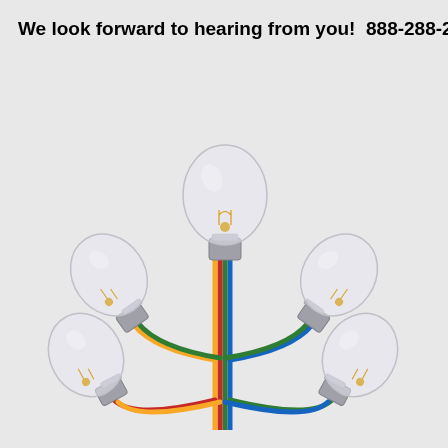We look forward to hearing from you!  888-288-2285
[Figure (illustration): Five transparent glass light bulbs connected by four colored wires (green, red, yellow, blue) forming a tree-like arrangement. One bulb points upward at the top center, two bulbs branch out to the left (upper and lower), and two bulbs branch out to the right (upper and lower). The wires run vertically down the center stem and curve outward to each bulb's base.]